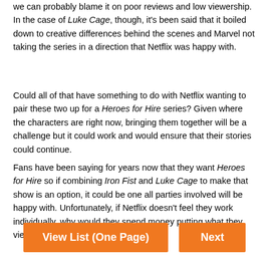we can probably blame it on poor reviews and low viewership. In the case of Luke Cage, though, it's been said that it boiled down to creative differences behind the scenes and Marvel not taking the series in a direction that Netflix was happy with.
Could all of that have something to do with Netflix wanting to pair these two up for a Heroes for Hire series? Given where the characters are right now, bringing them together will be a challenge but it could work and would ensure that their stories could continue.
Fans have been saying for years now that they want Heroes for Hire so if combining Iron Fist and Luke Cage to make that show is an option, it could be one all parties involved will be happy with. Unfortunately, if Netflix doesn't feel they work individually, why would they spend money putting what they view as two failures together?
[Figure (other): Two orange navigation buttons: 'View List (One Page)' and 'Next']